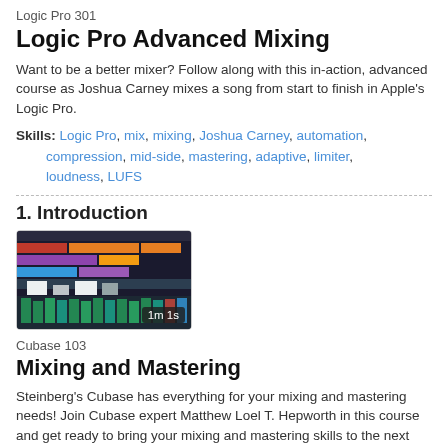Logic Pro 301
Logic Pro Advanced Mixing
Want to be a better mixer? Follow along with this in-action, advanced course as Joshua Carney mixes a song from start to finish in Apple's Logic Pro.
Skills: Logic Pro, mix, mixing, Joshua Carney, automation, compression, mid-side, mastering, adaptive, limiter, loudness, LUFS
1. Introduction
[Figure (screenshot): Thumbnail screenshot of a Logic Pro mixing session showing colorful track arrangement with audio waveforms and mixer. Time badge shows 1m 1s.]
Cubase 103
Mixing and Mastering
Steinberg's Cubase has everything for your mixing and mastering needs! Join Cubase expert Matthew Loel T. Hepworth in this course and get ready to bring your mixing and mastering skills to the next level!